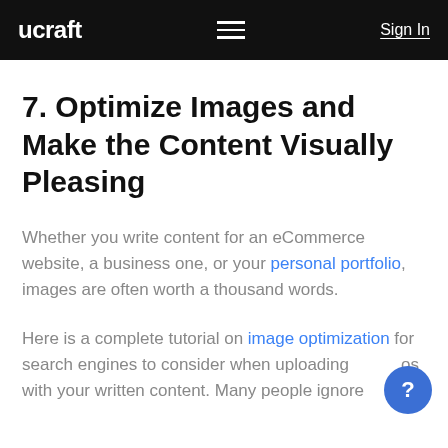ucraft   ≡   Sign In
7. Optimize Images and Make the Content Visually Pleasing
Whether you write content for an eCommerce website, a business one, or your personal portfolio, images are often worth a thousand words.
Here is a complete tutorial on image optimization for search engines to consider when uploading photos with your written content. Many people ignore